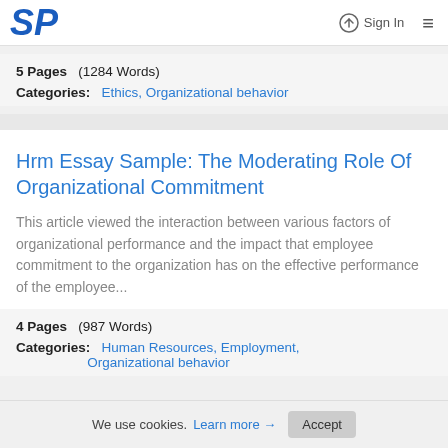SP  Sign In  ≡
5 Pages   (1284 Words)
Categories:   Ethics, Organizational behavior
Hrm Essay Sample: The Moderating Role Of Organizational Commitment
This article viewed the interaction between various factors of organizational performance and the impact that employee commitment to the organization has on the effective performance of the employee...
4 Pages   (987 Words)
Categories:   Human Resources, Employment, Organizational behavior
We use cookies. Learn more →  Accept